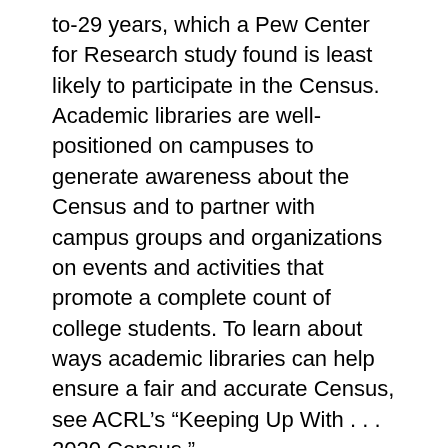to-29 years, which a Pew Center for Research study found is least likely to participate in the Census. Academic libraries are well-positioned on campuses to generate awareness about the Census and to partner with campus groups and organizations on events and activities that promote a complete count of college students. To learn about ways academic libraries can help ensure a fair and accurate Census, see ACRL’s “Keeping Up With . . . 2020 Census.”
The 2020 Census is the first Census to include the online self-response questionnaire, which can be completed on a smartphone, tablet, or computer in about ten minutes. Individuals can also complete the Census questionnaire by phone or by mail. Although April 1 is designated as Census Day, individuals can complete their Census form before this date, and they should include everyone who will be a usual resident of their household on April 1. The Census counts